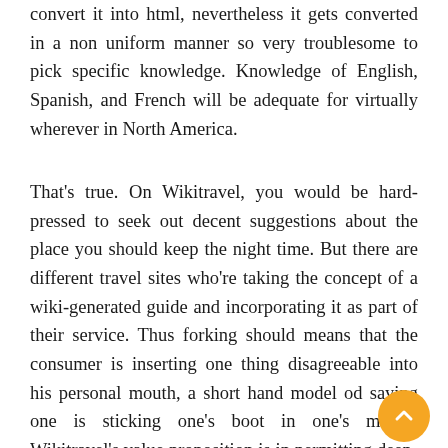convert it into html, nevertheless it gets converted in a non uniform manner so very troublesome to pick specific knowledge. Knowledge of English, Spanish, and French will be adequate for virtually wherever in North America.
That's true. On Wikitravel, you would be hard-pressed to seek out decent suggestions about the place you should keep the night time. But there are different travel sites who're taking the concept of a wiki-generated guide and incorporating it as part of their service. Thus forking should means that the consumer is inserting one thing disagreeable into his personal mouth, a short hand model od saying one is sticking one's boot in one's mouth. Wikitravel's value proposition is in permitting deep-coverage of locations that often aren't worthwhile for publishers to cowl completely in guidebooks.